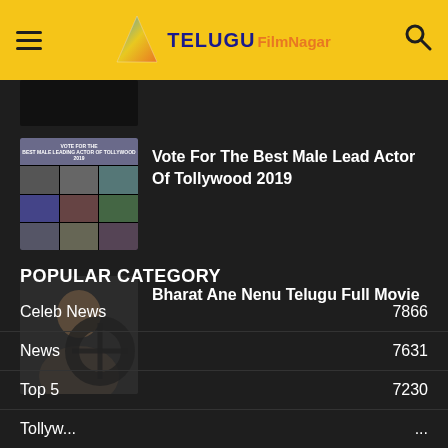Telugu FilmNagar
[Figure (screenshot): Partial thumbnail of a dark image at top of content area]
[Figure (screenshot): Thumbnail for Vote For The Best Male Lead Actor Of Tollywood 2019 article with grid of actor photos]
Vote For The Best Male Lead Actor Of Tollywood 2019
[Figure (photo): Thumbnail showing a man (actor Mahesh Babu) in a car for Bharat Ane Nenu Telugu Full Movie]
Bharat Ane Nenu Telugu Full Movie
POPULAR CATEGORY
Celeb News  7866
News  7631
Top 5  7230